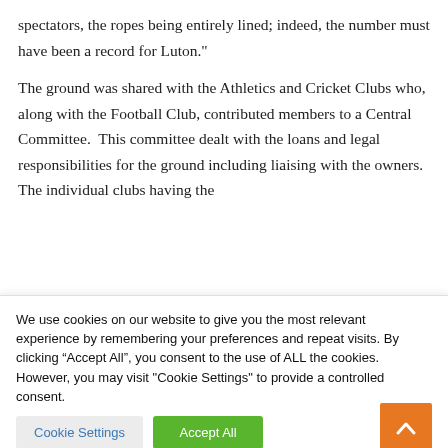spectators, the ropes being entirely lined; indeed, the number must have been a record for Luton."

The ground was shared with the Athletics and Cricket Clubs who, along with the Football Club, contributed members to a Central Committee.  This committee dealt with the loans and legal responsibilities for the ground including liaising with the owners.  The individual clubs having the
We use cookies on our website to give you the most relevant experience by remembering your preferences and repeat visits. By clicking “Accept All”, you consent to the use of ALL the cookies. However, you may visit "Cookie Settings" to provide a controlled consent.